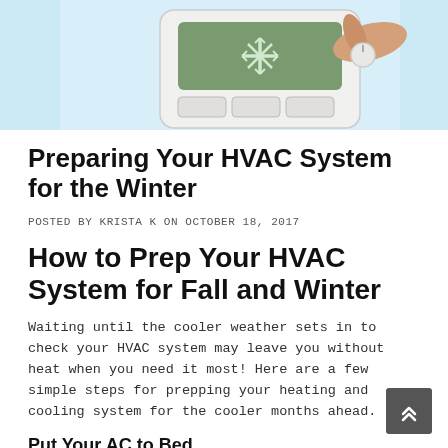[Figure (photo): Photo of a person adjusting a thermostat, with a digital display showing a snowflake icon, set against a light blue background.]
Preparing Your HVAC System for the Winter
POSTED BY KRISTA K ON OCTOBER 18, 2017
How to Prep Your HVAC System for Fall and Winter
Waiting until the cooler weather sets in to check your HVAC system may leave you without heat when you need it most! Here are a few simple steps for prepping your heating and cooling system for the cooler months ahead.
Put Your AC to Bed